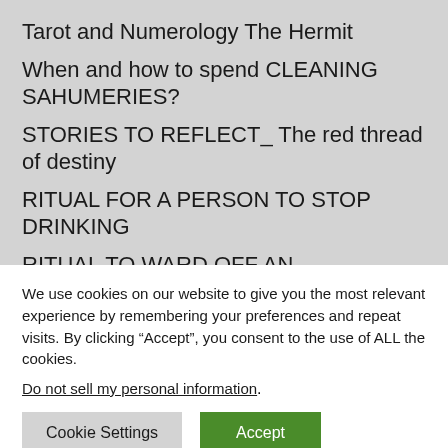Tarot and Numerology The Hermit
When and how to spend CLEANING SAHUMERIES?
STORIES TO REFLECT_ The red thread of destiny
RITUAL FOR A PERSON TO STOP DRINKING
RITUAL TO WARD OFF AN UNDESIRABLE
We use cookies on our website to give you the most relevant experience by remembering your preferences and repeat visits. By clicking “Accept”, you consent to the use of ALL the cookies.
Do not sell my personal information.